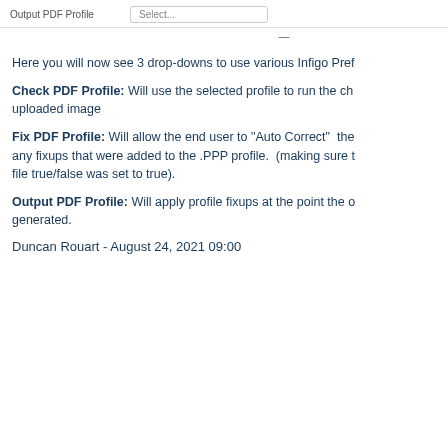[Figure (screenshot): UI row showing 'Output PDF Profile' label with a 'Select...' dropdown input]
Here you will now see 3 drop-downs to use various Infigo Pref
Check PDF Profile: Will use the selected profile to run the ch uploaded image
Fix PDF Profile: Will allow the end user to "Auto Correct" the any fixups that were added to the .PPP profile.  (making sure t file true/false was set to true).
Output PDF Profile: Will apply profile fixups at the point the o generated.
Duncan Rouart - August 24, 2021 09:00